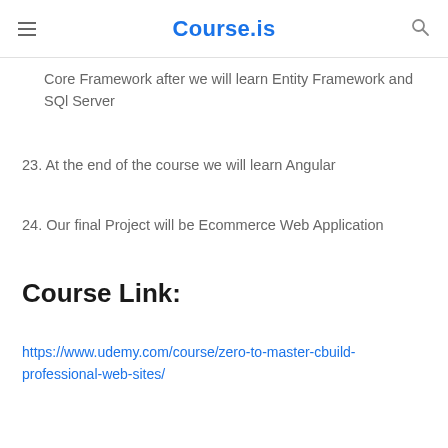Course.is
Core Framework after we will learn Entity Framework and SQl Server
23. At the end of the course we will learn Angular
24. Our final Project will be Ecommerce Web Application
Course Link:
https://www.udemy.com/course/zero-to-master-cbuild-professional-web-sites/